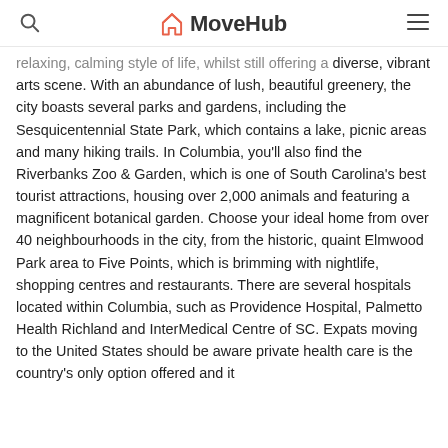MoveHub
relaxing, calming style of life, whilst still offering a diverse, vibrant arts scene. With an abundance of lush, beautiful greenery, the city boasts several parks and gardens, including the Sesquicentennial State Park, which contains a lake, picnic areas and many hiking trails. In Columbia, you'll also find the Riverbanks Zoo & Garden, which is one of South Carolina's best tourist attractions, housing over 2,000 animals and featuring a magnificent botanical garden. Choose your ideal home from over 40 neighbourhoods in the city, from the historic, quaint Elmwood Park area to Five Points, which is brimming with nightlife, shopping centres and restaurants. There are several hospitals located within Columbia, such as Providence Hospital, Palmetto Health Richland and InterMedical Centre of SC. Expats moving to the United States should be aware private health care is the country's only option offered and it